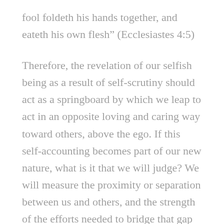fool foldeth his hands together, and eateth his own flesh” (Ecclesiastes 4:5)
Therefore, the revelation of our selfish being as a result of self-scrutiny should act as a springboard by which we leap to act in an opposite loving and caring way toward others, above the ego. If this self-accounting becomes part of our new nature, what is it that we will judge? We will measure the proximity or separation between us and others, and the strength of the efforts needed to bridge that gap and draw us closer to each other. This is the only kind of useful and purposeful criticism or evaluation we should make if we want to reach balance and